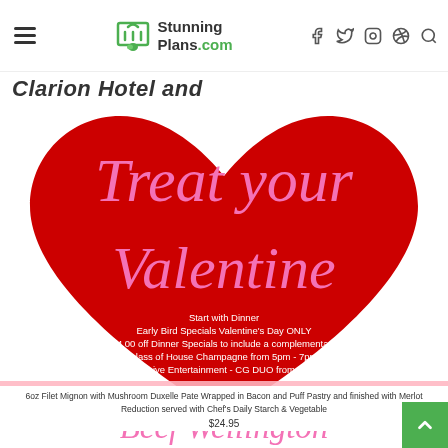StunningPlans.com navigation bar with hamburger menu, logo, and social icons (Facebook, Twitter, Instagram, Pinterest, Search)
Clarion Hotel and
[Figure (infographic): Valentine's Day dinner promotion flyer featuring a large red heart background with pink script text reading 'Treat your Valentine', event details about Early Bird Specials on Valentine's Day ONLY, $4.00 off Dinner Specials with complimentary glass of House Champagne from 5pm-7pm, Live Entertainment CG DUO from 6pm-9pm, pink banner: 'Dinner Specials available Febuary 14, 15 & 16 starting at 5pm', Beef Wellington dish description at $24.95, and partial Lobster Ravioli title at bottom]
Start with Dinner
Early Bird Specials Valentine's Day ONLY
$4.00 off Dinner Specials to include a complementary glass of House Champagne from 5pm - 7pm
Featuring Live Entertainment - CG DUO from 6pm - 9pm
Dinner Specials available Febuary 14, 15 & 16 starting at 5pm
Beef Wellington
6oz Filet Mignon with Mushroom Duxelle Pate Wrapped in Bacon and Puff Pastry and finished with Merlot Reduction served with Chef's Daily Starch & Vegetable
$24.95
Lobster Ravioli